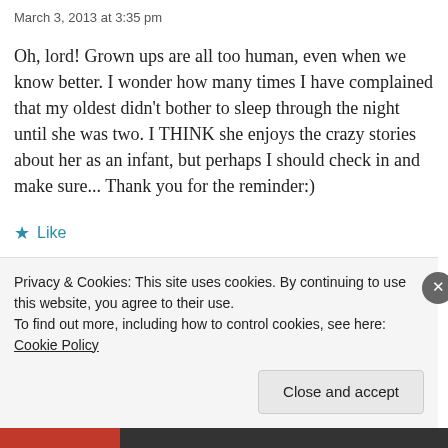March 3, 2013 at 3:35 pm
Oh, lord! Grown ups are all too human, even when we know better. I wonder how many times I have complained that my oldest didn't bother to sleep through the night until she was two. I THINK she enjoys the crazy stories about her as an infant, but perhaps I should check in and make sure... Thank you for the reminder:)
★ Like
REPLY
Privacy & Cookies: This site uses cookies. By continuing to use this website, you agree to their use.
To find out more, including how to control cookies, see here: Cookie Policy
Close and accept